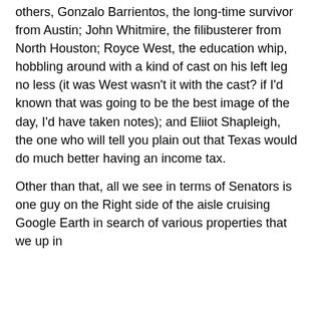others, Gonzalo Barrientos, the long-time survivor from Austin; John Whitmire, the filibusterer from North Houston; Royce West, the education whip, hobbling around with a kind of cast on his left leg no less (it was West wasn't it with the cast? if I'd known that was going to be the best image of the day, I'd have taken notes); and Eliiot Shapleigh, the one who will tell you plain out that Texas would do much better having an income tax.
Other than that, all we see in terms of Senators is one guy on the Right side of the aisle cruising Google Earth in search of various properties that we up in